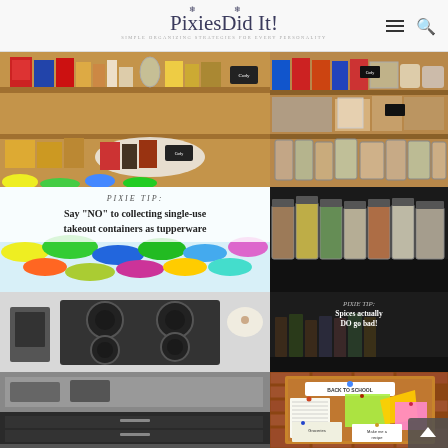PixiesDid It! — Simple organizing strategies for every personality
[Figure (photo): Cluttered pantry shelf before organizing — boxes of cereal and various food items on wooden shelves]
[Figure (photo): Organized pantry shelf after — neatly arranged cereal boxes, jars, and cans on wooden shelves]
[Figure (infographic): Pixie Tip card: Say NO to collecting single-use takeout containers as tupperware, with image of colorful plastic lids]
[Figure (photo): Row of clear glass canisters filled with colorful grains, legumes, and spices on dark counter]
[Figure (photo): Kitchen stovetop and counter area with appliances — top view]
[Figure (infographic): Pixie Tip: Spices actually DO go bad! overlaid on dark image of spice jars]
[Figure (photo): Dark modern kitchen drawer organization]
[Figure (photo): Cork bulletin board with sticky notes, papers, and Back to School label — home organization board]
[Figure (photo): Kitchen or bathroom area — lower view]
[Figure (photo): Cleaning and organizing supplies on shelf]